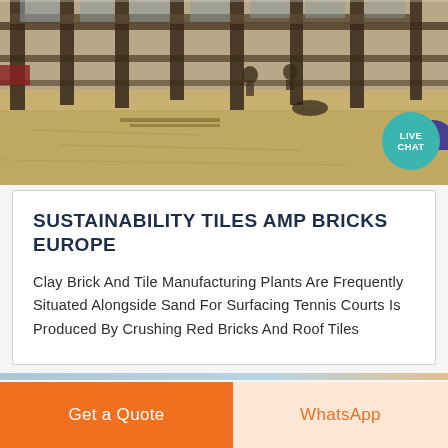[Figure (photo): Construction site photo showing sandy ground, concrete columns, workers in the background, and building under construction]
SUSTAINABILITY TILES AMP BRICKS EUROPE
Clay Brick And Tile Manufacturing Plants Are Frequently Situated Alongside Sand For Surfacing Tennis Courts Is Produced By Crushing Red Bricks And Roof Tiles